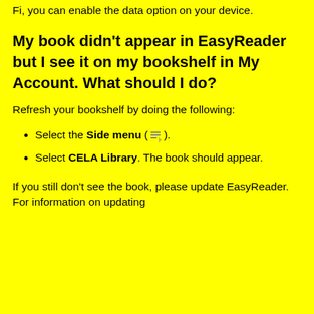Fi, you can enable the data option on your device.
My book didn't appear in EasyReader but I see it on my bookshelf in My Account. What should I do?
Refresh your bookshelf by doing the following:
Select the Side menu (icon).
Select CELA Library. The book should appear.
If you still don't see the book, please update EasyReader. For information on updating